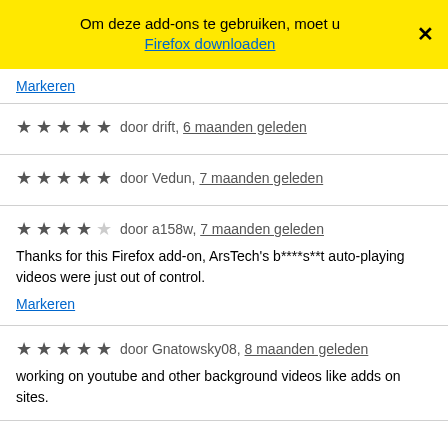Om deze add-ons te gebruiken, moet u Firefox downloaden
Markeren
★★★★★ door drift, 6 maanden geleden
★★★★★ door Vedun, 7 maanden geleden
★★★★☆ door a158w, 7 maanden geleden
Thanks for this Firefox add-on, ArsTech's b****s**t auto-playing videos were just out of control.
Markeren
★★★★★ door Gnatowsky08, 8 maanden geleden
working on youtube and other background videos like adds on sites.